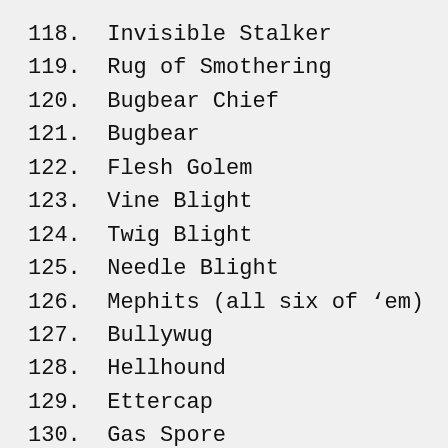118. Invisible Stalker
119. Rug of Smothering
120. Bugbear Chief
121. Bugbear
122. Flesh Golem
123. Vine Blight
124. Twig Blight
125. Needle Blight
126. Mephits (all six of ’em)
127. Bullywug
128. Hellhound
129. Ettercap
130. Gas Spore
131. Cockatrice